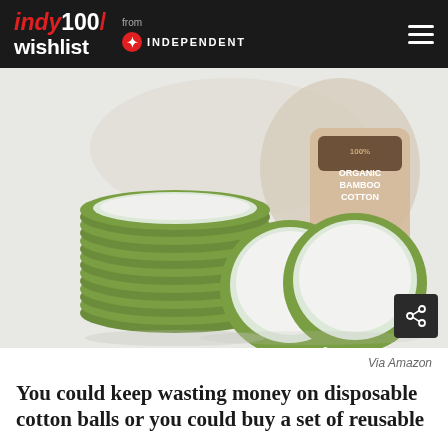indy100/ wishlist from INDEPENDENT
[Figure (photo): Stack of reusable green-bordered round cotton pads made from 100% Organic Bamboo Cotton, shown with a branded container and mesh laundry bag in the background. Two individual pads are shown in front of the stack.]
Via Amazon
You could keep wasting money on disposable cotton balls or you could buy a set of reusable